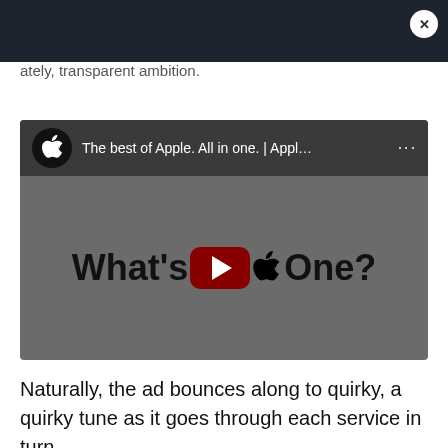…ately transparent ambition.
[Figure (screenshot): Embedded YouTube video player showing Apple One advertisement. Header shows Apple logo icon and title 'The best of Apple. All in one. | Appl…' with three-dot menu. Video thumbnail shows text 'What's  One?' with YouTube play button overlaid in the center.]
Naturally, the ad bounces along to quirky, a quirky tune as it goes through each service in turn.